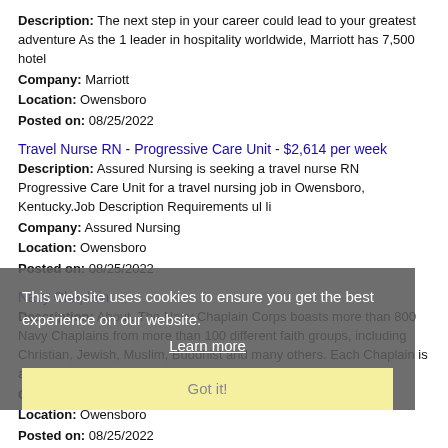Description: The next step in your career could lead to your greatest adventure As the 1 leader in hospitality worldwide, Marriott has 7,500 hotel Company: Marriott Location: Owensboro Posted on: 08/25/2022
Travel Nurse RN - Progressive Care Unit - $2,614 per week
Description: Assured Nursing is seeking a travel nurse RN Progressive Care Unit for a travel nursing job in Owensboro, Kentucky.Job Description Requirements ul li Company: Assured Nursing Location: Owensboro Posted on: 08/25/2022
Navy Chaplain
Description: About. The Navy Chaplain Corps boasts more than 800 Navy Chaplains from more than 100 different faith groups, including Christian, Jewish, Muslim, Buddhist and many others. Each Chaplain is also a Navy (more...) Company: US Navy Location: Owensboro Posted on: 08/25/2022
This website uses cookies to ensure you get the best experience on our website. Learn more Got it!